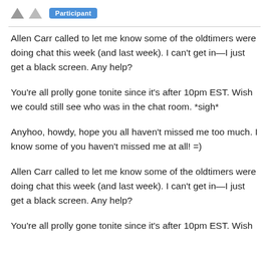Participant
Allen Carr called to let me know some of the oldtimers were doing chat this week (and last week).  I can't get in—I just get a black screen.   Any help?
You're all prolly gone tonite since it's after 10pm EST.   Wish we could still see who was in the chat room. *sigh*
Anyhoo, howdy, hope you all haven't missed me too much. I know some of you haven't missed me at all!  =)
Allen Carr called to let me know some of the oldtimers were doing chat this week (and last week).  I can't get in—I just get a black screen.   Any help?
You're all prolly gone tonite since it's after 10pm EST.   Wish